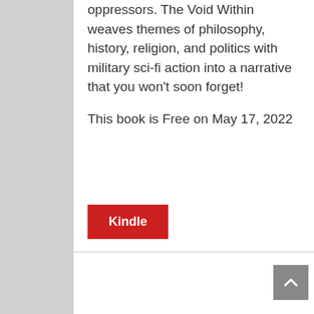oppressors. The Void Within weaves themes of philosophy, history, religion, and politics with military sci-fi action into a narrative that you won't soon forget!
This book is Free on May 17, 2022
Kindle